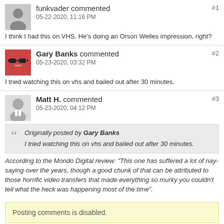funkvader commented #1 05-22-2020, 11:16 PM
I think I had this on VHS. He's doing an Orson Welles impression, right?
Gary Banks commented #2 05-23-2020, 03:32 PM
I tried watching this on vhs and bailed out after 30 minutes.
Matt H. commented #3 05-23-2020, 04:12 PM
Originally posted by Gary Banks
I tried watching this on vhs and bailed out after 30 minutes.
According to the Mondo Digital review: "This one has suffered a lot of nay-saying over the years, though a good chunk of that can be attributed to those horrific video transfers that made everything so murky you couldn't tell what the heck was happening most of the time".
Posting comments is disabled.
Categories